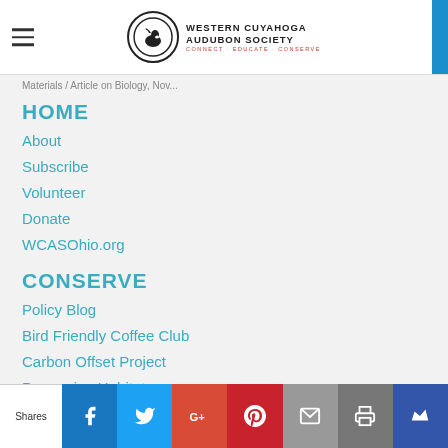Western Cuyahoga Audubon Society — CONNECT · EDUCATE · CONSERVE
Materials / Article on Biology, Nov...
HOME
About
Subscribe
Volunteer
Donate
WCASOhio.org
CONSERVE
Policy Blog
Bird Friendly Coffee Club
Carbon Offset Project
Preserving Habitat
CONNECT
Story Blog